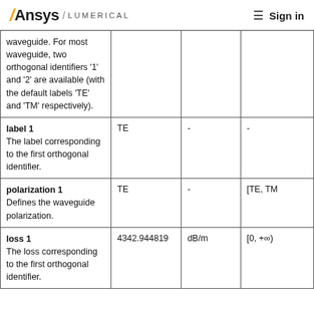Ansys / LUMERICAL  ≡ Sign in
| Parameter | Default | Unit | Range |
| --- | --- | --- | --- |
| waveguide. For most waveguide, two orthogonal identifiers '1' and '2' are available (with the default labels 'TE' and 'TM' respectively). |  |  |  |
| label 1
The label corresponding to the first orthogonal identifier. | TE | - | - |
| polarization 1
Defines the waveguide polarization. | TE | - | [TE, TM |
| loss 1
The loss corresponding to the first orthogonal identifier. | 4342.944819 | dB/m | [0, +∞) |